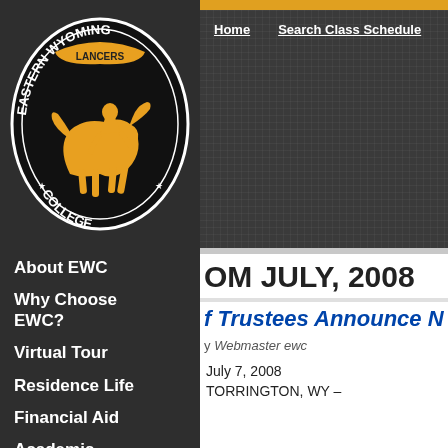[Figure (logo): Eastern Wyoming College Lancers circular logo with horse and rider in gold on black background]
About EWC
Why Choose EWC?
Virtual Tour
Residence Life
Financial Aid
Academic Services
Home    Search Class Schedule
OM JULY, 2008
f Trustees Announce N
y Webmaster ewc
July 7, 2008
TORRINGTON, WY –